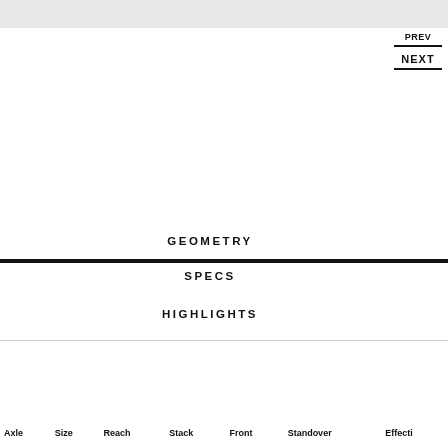[Figure (photo): Top gray header bar, partial bicycle or product image]
PREV
NEXT
GEOMETRY
SPECS
HIGHLIGHTS
| Axle | Size | Reach | Stack | Front | Standover | Effecti |
| --- | --- | --- | --- | --- | --- | --- |